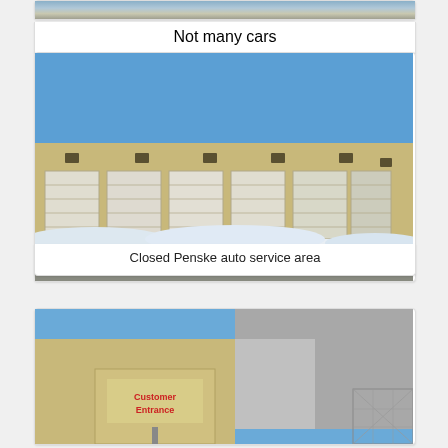[Figure (photo): Partial view of a parking lot or outdoor area, cropped at top]
Not many cars
[Figure (photo): A large tan/beige commercial building with multiple closed white roll-up garage doors, snow on the ground, clear blue sky — closed Penske auto service area]
Closed Penske auto service area
[Figure (photo): A beige commercial building exterior with a red 'Customer Entrance' sign on a canopy, adjacent to a gray building and chain-link fence]